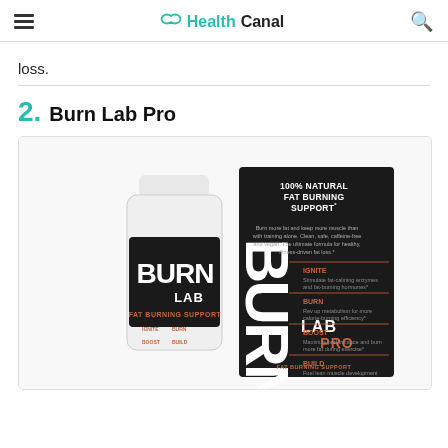HealthCanal
loss.
2. Burn Lab Pro
[Figure (photo): Product photo of Burn Lab Pro fat burning supplement — a white bottle labeled 'BURN LAB FAT BURNING SUPPORT' on the left, and a black box labeled 'BURN LAB PRO FAT BURNING SUPPORT' on the right. The box reads '100% NATURAL FAT BURNING SUPPORT' and lists four benefits: IGNITE, BURN, BOOST, BUILD.]